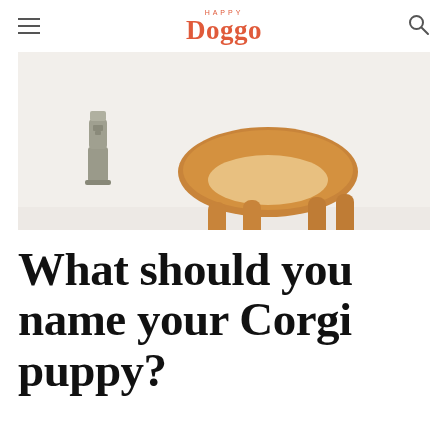HAPPY Doggo
[Figure (photo): A corgi dog sniffing or approaching a small toy figurine (moai/Easter Island head statue) on a white background. The dog is partially cropped, showing its body from the mid-section, with golden/orange fur.]
What should you name your Corgi puppy?